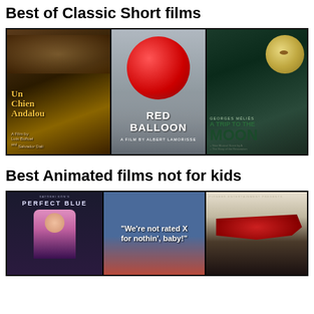Best of Classic Short films
[Figure (photo): Three film posters side by side: Un Chien Andalou (Luis Buñuel & Salvador Dalí), The Red Balloon (Albert Lamorisse), A Trip to the Moon (Georges Méliès)]
Best Animated films not for kids
[Figure (photo): Three animated film posters side by side: Perfect Blue, Fritz the Cat (We're not rated X for nothin' baby!), Akira]